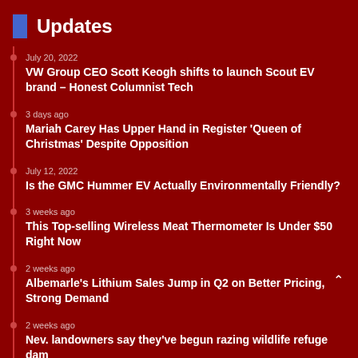Updates
July 20, 2022
VW Group CEO Scott Keogh shifts to launch Scout EV brand – Honest Columnist Tech
3 days ago
Mariah Carey Has Upper Hand in Register 'Queen of Christmas' Despite Opposition
July 12, 2022
Is the GMC Hummer EV Actually Environmentally Friendly?
3 weeks ago
This Top-selling Wireless Meat Thermometer Is Under $50 Right Now
2 weeks ago
Albemarle's Lithium Sales Jump in Q2 on Better Pricing, Strong Demand
2 weeks ago
Nev. landowners say they've begun razing wildlife refuge dam